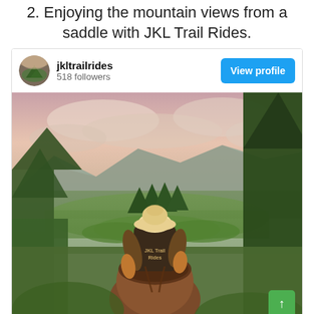2. Enjoying the mountain views from a saddle with JKL Trail Rides.
[Figure (screenshot): Instagram-style profile card for jkltrailrides showing username, 518 followers, a View profile button, and a photo of a person on horseback viewed from behind, wearing a JKL Trail Rides vest and cowboy hat, looking out over a green mountain valley with evergreen trees and a dramatic pink-hued cloudy sky.]